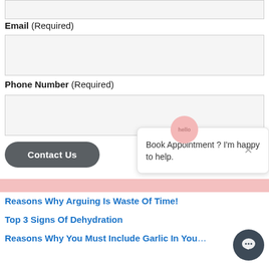Email (Required)
Phone Number (Required)
Contact Us
Book Appointment ? I'm happy to help.
Reasons Why Arguing Is Waste Of Time!
Top 3 Signs Of Dehydration
Reasons Why You Must Include Garlic In Your Diet?